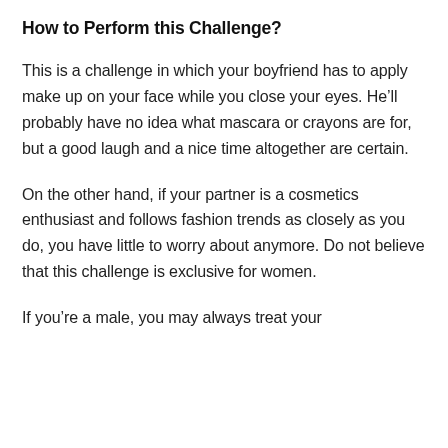How to Perform this Challenge?
This is a challenge in which your boyfriend has to apply make up on your face while you close your eyes. He’ll probably have no idea what mascara or crayons are for, but a good laugh and a nice time altogether are certain.
On the other hand, if your partner is a cosmetics enthusiast and follows fashion trends as closely as you do, you have little to worry about anymore. Do not believe that this challenge is exclusive for women.
If you’re a male, you may always treat your